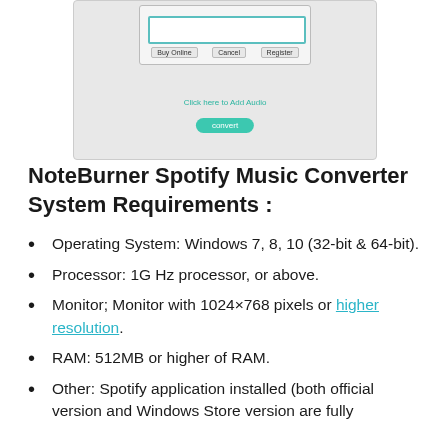[Figure (screenshot): Screenshot of NoteBurner Spotify Music Converter application showing a dialog box with a blue-bordered input field, Buy Online/Cancel/Register buttons, a 'Click here to Add Audio' link in teal, and a Convert button.]
NoteBurner Spotify Music Converter System Requirements :
Operating System: Windows 7, 8, 10 (32-bit & 64-bit).
Processor: 1G Hz processor, or above.
Monitor; Monitor with 1024×768 pixels or higher resolution.
RAM: 512MB or higher of RAM.
Other: Spotify application installed (both official version and Windows Store version are fully